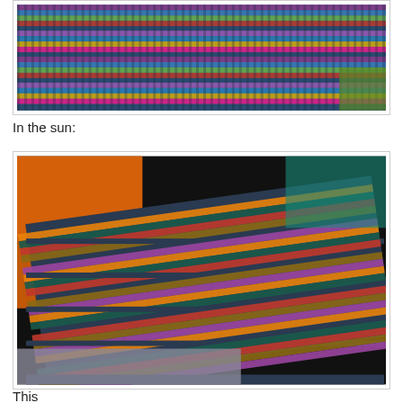[Figure (photo): Close-up photo of colorful knitted or crocheted fabric with multicolored stripes in purple, blue, pink, green, orange on a light background]
In the sun:
[Figure (photo): Photo of a person wearing a colorful multicolored knitted or crocheted scarf/wrap in sunlight, showing orange clothing underneath, with dark background]
This